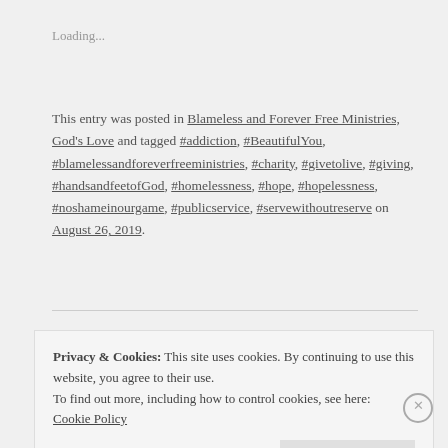Loading...
This entry was posted in Blameless and Forever Free Ministries, God's Love and tagged #addiction, #BeautifulYou, #blamelessandforeverfreeministries, #charity, #givetolive, #giving, #handsandfeetofGod, #homelessness, #hope, #hopelessness, #noshameinourgame, #publicservice, #servewithoutreserve on August 26, 2019.
Privacy & Cookies: This site uses cookies. By continuing to use this website, you agree to their use.
To find out more, including how to control cookies, see here: Cookie Policy
Close and accept